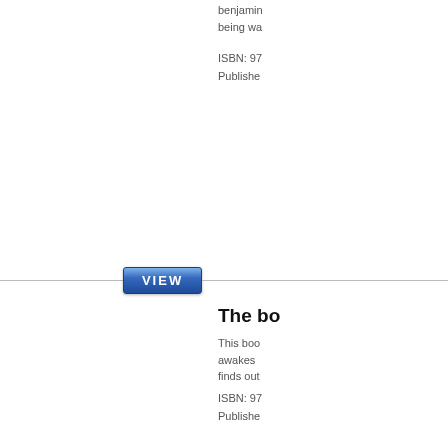benjamin... being wa...
ISBN: 97...
Published...
[Figure (other): VIEW button with horizontal line]
The bo...
This boo... awakes ... finds out...
ISBN: 97...
Published...
[Figure (other): VIEW button with horizontal line]
The Fi...
the fourt... and the ... not just d...
ISBN: 97...
Published...